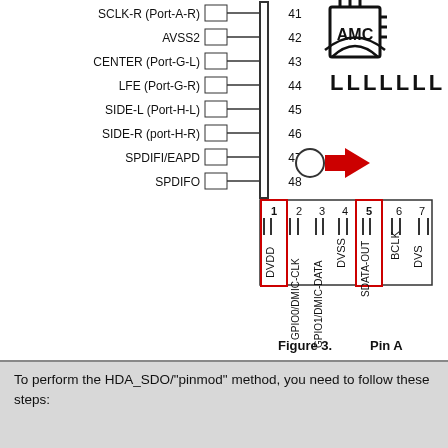[Figure (engineering-diagram): Partial IC pin diagram showing pins 41-48 on the left side (SCLK-R Port-A-R, AVSS2, CENTER Port-G-L, LFE Port-G-R, SIDE-L Port-H-L, SIDE-R port-H-R, SPDIFI/EAPD, SPDIFO), a chip logo top right with 'LLLLLLL' text, a circle and red arrow indicator at pin 47-48, and a connector pinout at the bottom showing pins 1-7 with rotated labels: DVDD (pin1, red box), GPIO0/DMIC-CLK (pin2), GPIO1/DMIC-DATA (pin3), DVSS (pin4), SDATA-OUT (pin5, red box), BCLK (pin6), DVSS (pin7 partial). Caption: Figure 3. Pin A]
Figure 3.   Pin A
To perform the HDA_SDO/"pinmod" method, you need to follow these steps: